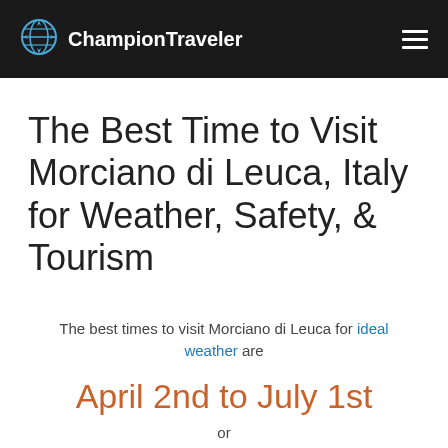ChampionTraveler
The Best Time to Visit Morciano di Leuca, Italy for Weather, Safety, & Tourism
The best times to visit Morciano di Leuca for ideal weather are
April 2nd to July 1st
or
September 2nd to December 2nd